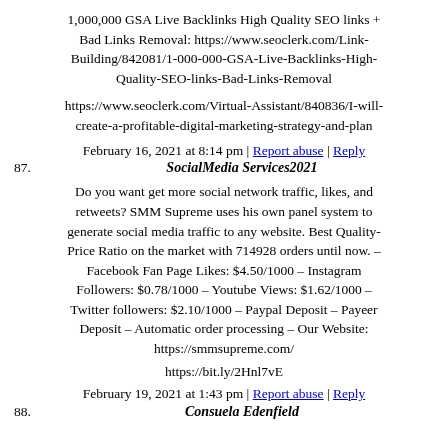1,000,000 GSA Live Backlinks High Quality SEO links + Bad Links Removal: https://www.seoclerk.com/Link-Building/842081/1-000-000-GSA-Live-Backlinks-High-Quality-SEO-links-Bad-Links-Removal
https://www.seoclerk.com/Virtual-Assistant/840836/I-will-create-a-profitable-digital-marketing-strategy-and-plan
February 16, 2021 at 8:14 pm | Report abuse | Reply
87. SocialMedia Services2021
Do you want get more social network traffic, likes, and retweets? SMM Supreme uses his own panel system to generate social media traffic to any website. Best Quality-Price Ratio on the market with 714928 orders until now. – Facebook Fan Page Likes: $4.50/1000 – Instagram Followers: $0.78/1000 – Youtube Views: $1.62/1000 – Twitter followers: $2.10/1000 – Paypal Deposit – Payeer Deposit – Automatic order processing – Our Website: https://smmsupreme.com/
https://bit.ly/2Hnl7vE
February 19, 2021 at 1:43 pm | Report abuse | Reply
88. Consuela Edenfield